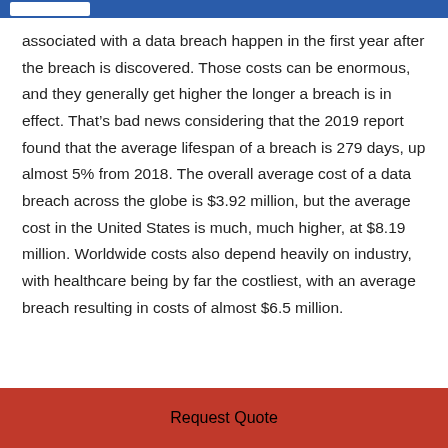associated with a data breach happen in the first year after the breach is discovered. Those costs can be enormous, and they generally get higher the longer a breach is in effect. That’s bad news considering that the 2019 report found that the average lifespan of a breach is 279 days, up almost 5% from 2018. The overall average cost of a data breach across the globe is $3.92 million, but the average cost in the United States is much, much higher, at $8.19 million. Worldwide costs also depend heavily on industry, with healthcare being by far the costliest, with an average breach resulting in costs of almost $6.5 million.
Request Quote